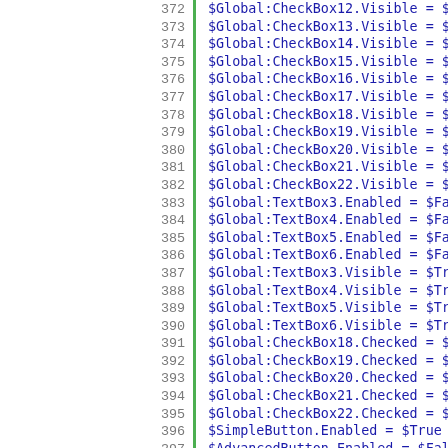372  $Global:CheckBox12.Visible = $True
373  $Global:CheckBox13.Visible = $True
374  $Global:CheckBox14.Visible = $True
375  $Global:CheckBox15.Visible = $True
376  $Global:CheckBox16.Visible = $True
377  $Global:CheckBox17.Visible = $True
378  $Global:CheckBox18.Visible = $False
379  $Global:CheckBox19.Visible = $False
380  $Global:CheckBox20.Visible = $False
381  $Global:CheckBox21.Visible = $False
382  $Global:CheckBox22.Visible = $False
383  $Global:TextBox3.Enabled = $False
384  $Global:TextBox4.Enabled = $False
385  $Global:TextBox5.Enabled = $False
386  $Global:TextBox6.Enabled = $False
387  $Global:TextBox3.Visible = $True
388  $Global:TextBox4.Visible = $True
389  $Global:TextBox5.Visible = $True
390  $Global:TextBox6.Visible = $True
391  $Global:CheckBox18.Checked = $False
392  $Global:CheckBox19.Checked = $False
393  $Global:CheckBox20.Checked = $False
394  $Global:CheckBox21.Checked = $False
395  $Global:CheckBox22.Checked = $False
396  $SimpleButton.Enabled = $True
397  $AdvancedButton.Enabled = $False
398  })
399  $AdvancedButton.Enabled = $True
400  $AdvancedButton.Anchor = [System.Windc